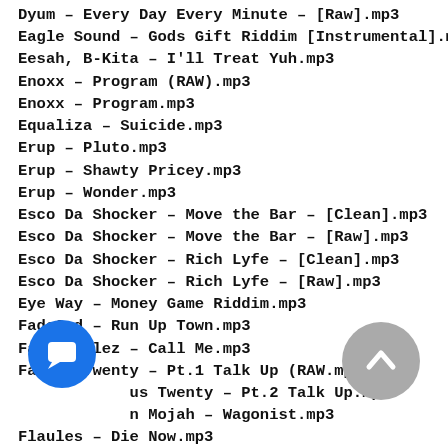Dyum – Every Day Every Minute – [Raw].mp3
Eagle Sound – Gods Gift Riddim [Instrumental].mp3
Eesah, B-Kita – I'll Treat Yuh.mp3
Enoxx – Program (RAW).mp3
Enoxx – Program.mp3
Equaliza – Suicide.mp3
Erup – Pluto.mp3
Erup – Shawty Pricey.mp3
Erup – Wonder.mp3
Esco Da Shocker – Move the Bar – [Clean].mp3
Esco Da Shocker – Move the Bar – [Raw].mp3
Esco Da Shocker – Rich Lyfe – [Clean].mp3
Esco Da Shocker – Rich Lyfe – [Raw].mp3
Eye Way – Money Game Riddim.mp3
FadaGod – Run Up Town.mp3
Fame Stylez – Call Me.mp3
Famous Twenty – Pt.1 Talk Up (RAW.mp3
Famous Twenty – Pt.2 Talk Up.mp3
Fen Mojah – Wagonist.mp3
Flaules – Die Now.mp3